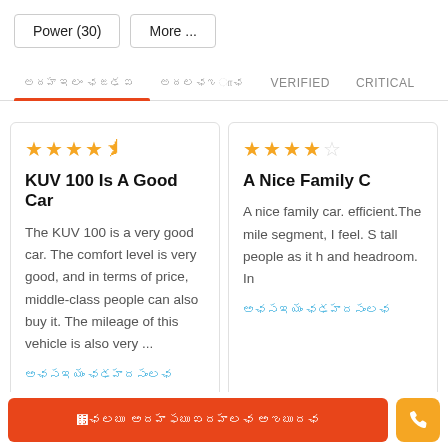Power (30)
More ...
XXXXXXXX XXXXX
XXXXXXXXX
VERIFIED
CRITICAL
KUV 100 Is A Good Car
The KUV 100 is a very good car. The comfort level is very good, and in terms of price, middle-class people can also buy it. The mileage of this vehicle is also very ...
A Nice Family C
A nice family car. efficient.The mile segment, I feel. S tall people as it h and headroom. In
XXXXXXX XXXXXXXXX
XXXXXXX XXXXXXXXX
XXXX XXXXXXXXXXX XXXXXX